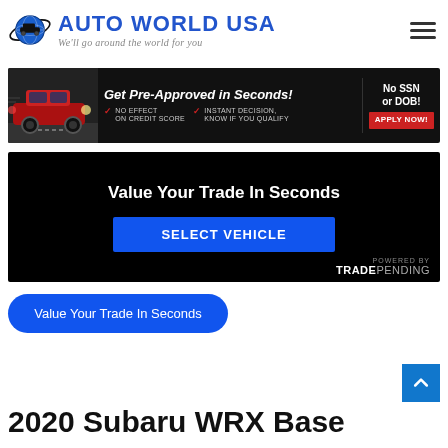[Figure (logo): Auto World USA logo with globe icon and tagline 'We'll go around the world for you']
[Figure (infographic): Get Pre-Approved in Seconds! No SSN or DOB! NO EFFECT ON CREDIT SCORE, INSTANT DECISION KNOW IF YOU QUALIFY, APPLY NOW! banner advertisement]
[Figure (infographic): Value Your Trade In Seconds widget with SELECT VEHICLE button, powered by TRADEPENDING]
Value Your Trade In Seconds
2020 Subaru WRX Base